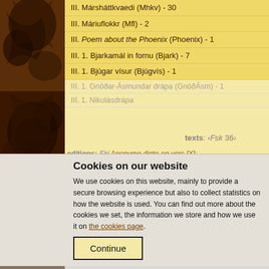III. Mársháttkvaedi (Mhkv) - 30
III. Máriuflokkr (Mfl) - 2
III. Poem about the Phoenix (Phoenix) - 1
III. 1. Bjarkamál in fornu (Bjark) - 7
III. 1. Bjúgar vísur (Bjúgvís) - 1
III. 1. Gnóðar-Ásmundar drápa (GnóðÁsm) - 1
III. 1. Nikulásdrápa
texts: ‹Fsk 36›
editions: Skj Anonyme digte og vers [X]; 166); Skald I, 89; Fsk 1902-3, 30 (ch. 7); 232, Gordon 1957, 149; Jón Helgason 19
sources
AM 761 b 4°x (761bx) 106r, 17 - 106r, 19
III. 2. Gátur (Gát) - 4
Cookies on our website
We use cookies on this website, mainly to provide a secure browsing experience but also to collect statistics on how the website is used. You can find out more about the cookies we set, the information we store and how we use it on the cookies page.
IV. Barðardrápa (Baráðr) - 1
IV. Hafgerðingadrápa